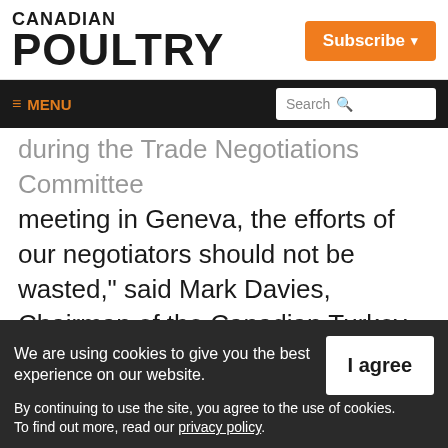CANADIAN POULTRY
Subscribe ▾
≡ MENU  Search 🔍
during the Trade Negotiations Committee meeting in Geneva, the efforts of our negotiators should not be wasted," said Mark Davies, Chairman of the Canadian Turkey Marketing Agency, "We should build on the progress we've made, with a goal of achieving a solid agreement that ends, once and for all
We are using cookies to give you the best experience on our website.
By continuing to use the site, you agree to the use of cookies.
To find out more, read our privacy policy.
I agree